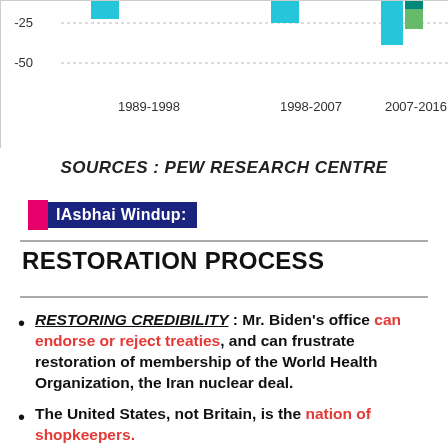[Figure (bar-chart): Partial grouped bar chart visible at top showing data for periods 1989-1998, 1998-2007, 2007-2016 with y-axis values including -25 and -50]
SOURCES : PEW RESEARCH CENTRE
IAsbhai Windup:
RESTORATION PROCESS
RESTORING CREDIBILITY : Mr. Biden's office can endorse or reject treaties, and can frustrate restoration of membership of the World Health Organization, the Iran nuclear deal.
The United States, not Britain, is the nation of shopkeepers.